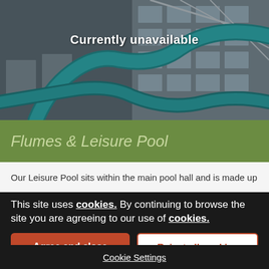[Figure (photo): Indoor water park photo showing blue water slide tubes against a building with windows and a glass roof structure. The photo shows a large curving blue flume slide.]
Currently unavailable
Flumes & Leisure Pool
Our Leisure Pool sits within the main pool hall and is made up
This site uses cookies. By continuing to browse the site you are agreeing to our use of cookies.
Agree and close
Reject all cookies
Cookie Settings